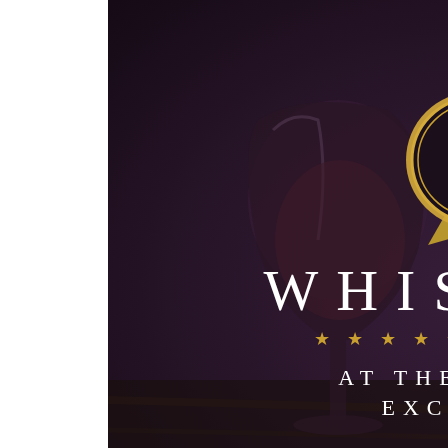[Figure (illustration): Cover image for 'Top 10 Whiskies at The Whisky Exchange'. Dark purple/maroon toned photo of two whisky glasses on a wooden surface. Overlaid text reads 'WHISKIES' in large spaced white serif letters, 'AT THE WHISKY EXCHANGE' in smaller spaced white serif letters below a row of gold stars. A gold medal/badge graphic at the top center reads 'TOP 10'.]